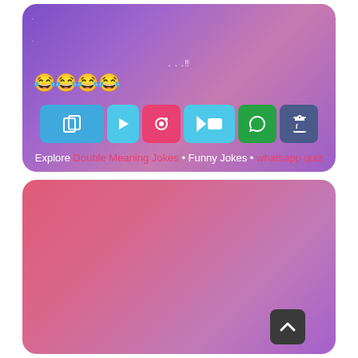[Figure (screenshot): Top card with purple gradient background showing emoji row, share buttons (copy, play, camera, whatsapp-video, whatsapp, facebook), and explore links text]
😂😂😂😂
Explore Double Meaning Jokes • Funny Jokes • whatsapp quiz
[Figure (screenshot): Bottom card with pink-to-purple gradient showing numbers 1 and 6, text '..??' and bullet dots, with a scroll-to-top button in lower right]